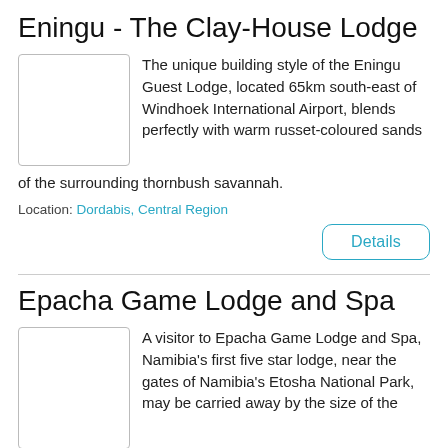Eningu - The Clay-House Lodge
[Figure (photo): Thumbnail image placeholder for Eningu Clay-House Lodge]
The unique building style of the Eningu Guest Lodge, located 65km south-east of Windhoek International Airport, blends perfectly with warm russet-coloured sands of the surrounding thornbush savannah.
Location: Dordabis, Central Region
Details
Epacha Game Lodge and Spa
[Figure (photo): Thumbnail image placeholder for Epacha Game Lodge and Spa]
A visitor to Epacha Game Lodge and Spa, Namibia's first five star lodge, near the gates of Namibia's Etosha National Park, may be carried away by the size of the rooms, the discreet perfection of the service and the attention to fine details.